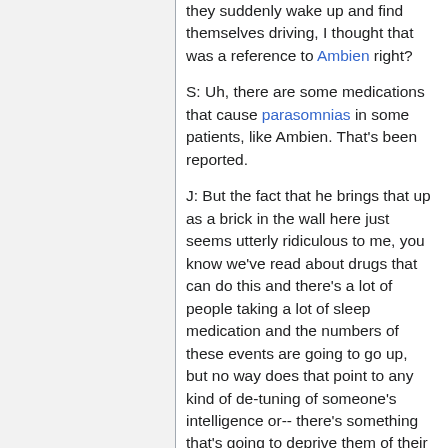they suddenly wake up and find themselves driving, I thought that was a reference to Ambien right?
S: Uh, there are some medications that cause parasomnias in some patients, like Ambien. That's been reported.
J: But the fact that he brings that up as a brick in the wall here just seems utterly ridiculous to me, you know we've read about drugs that can do this and there's a lot of people taking a lot of sleep medication and the numbers of these events are going to go up, but no way does that point to any kind of de-tuning of someone's intelligence or-- there's something that's going to deprive them of their higher intelligence.
B: I think the reason he brought it up is that it just goes to support his point of,